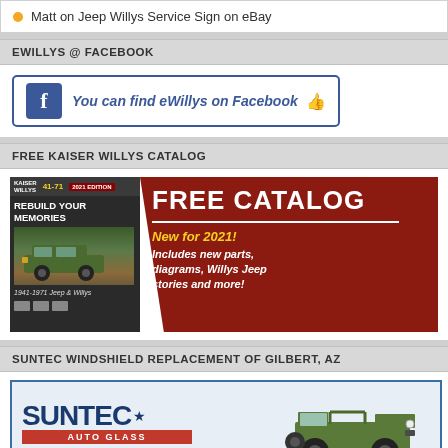Matt on Jeep Willys Service Sign on eBay
EWILLYS @ FACEBOOK
[Figure (screenshot): Facebook banner: You can find eWillys on Facebook with thumbs up icon]
FREE KAISER WILLYS CATALOG
[Figure (infographic): Kaiser Willys 2021 Edition catalog ad - FREE CATALOG, New for 2021! Includes new parts, diagrams, Willys Jeep stories and more! Shows Jeep image and text REBUILD YOUR MEMORIES, 1941-1971 Jeep & Willys]
SUNTEC WINDSHIELD REPLACEMENT OF GILBERT, AZ
[Figure (infographic): Suntec Auto Glass advertisement with Jeep Willys illustration and red bar AUTO GLASS. Bottom text says SUNTEC AUTO GLASS in red.]